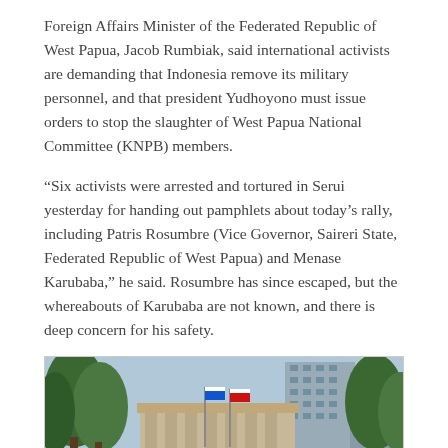Foreign Affairs Minister of the Federated Republic of West Papua, Jacob Rumbiak, said international activists are demanding that Indonesia remove its military personnel, and that president Yudhoyono must issue orders to stop the slaughter of West Papua National Committee (KNPB) members.
“Six activists were arrested and tortured in Serui yesterday for handing out pamphlets about today’s rally, including Patris Rosumbre (Vice Governor, Saireri State, Federated Republic of West Papua) and Menase Karubaba,” he said. Rosumbre has since escaped, but the whereabouts of Karubaba are not known, and there is deep concern for his safety.
[Figure (photo): Outdoor rally scene with trees, a building with columns, flags, and urban buildings in the background.]